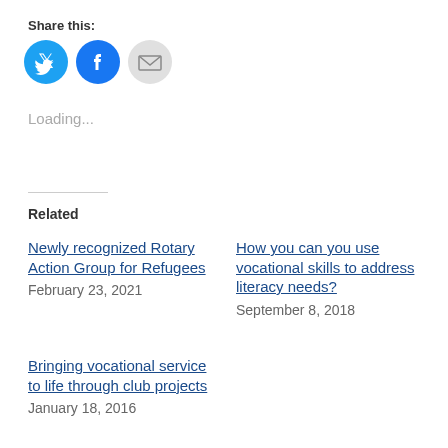Share this:
[Figure (other): Social share buttons: Twitter (blue circle), Facebook (blue circle), Email (grey circle)]
Loading...
Related
Newly recognized Rotary Action Group for Refugees
February 23, 2021
How you can you use vocational skills to address literacy needs?
September 8, 2018
Bringing vocational service to life through club projects
January 18, 2016